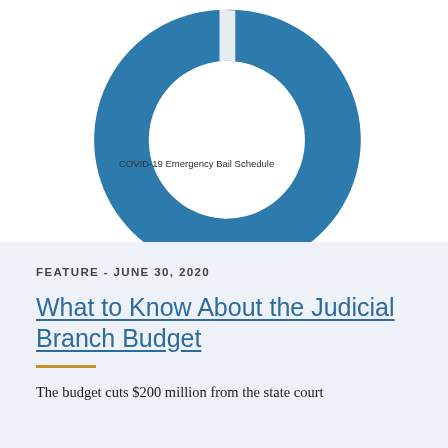[Figure (donut-chart): A large donut chart showing mostly one segment in steel blue (the vast majority), with a very small sliver of another segment visible at the top right. The label 'COVID-19 Emergency Bail Schedule' appears on the left side of the chart.]
FEATURE - JUNE 30, 2020
What to Know About the Judicial Branch Budget
The budget cuts $200 million from the state court